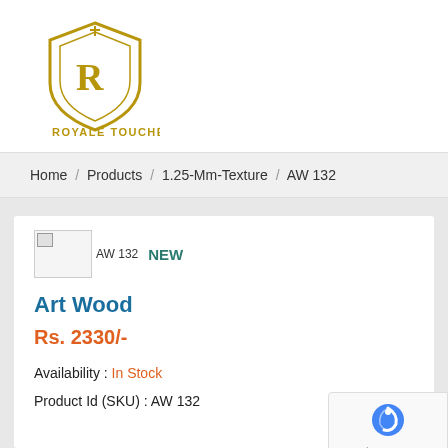[Figure (logo): Royale Touché brand logo — gold shield with stylized letters and brand name below]
Home / Products / 1.25-Mm-Texture / AW 132
[Figure (photo): Broken image placeholder for AW 132 product photo]
NEW
Art Wood
Rs. 2330/-
Availability : In Stock
Product Id (SKU) : AW 132